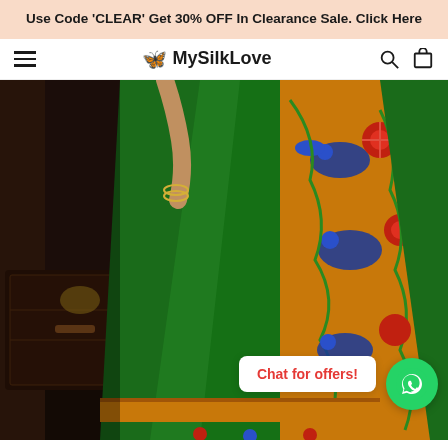Use Code 'CLEAR' Get 30% OFF In Clearance Sale. Click Here
[Figure (logo): MySilkLove logo with butterfly icon, hamburger menu, search and cart icons in navigation bar]
[Figure (photo): Woman wearing a green Paithani/Banarasi style saree with gold, red, blue and green floral and peacock motifs, standing near ornate wooden furniture]
Chat for offers!